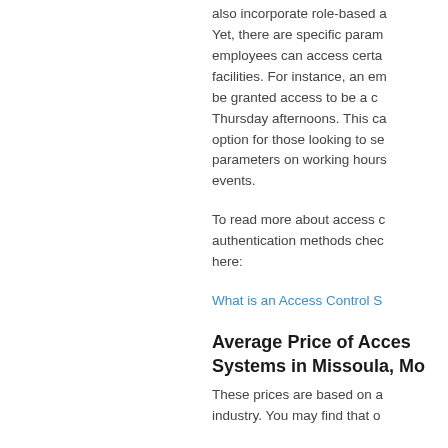also incorporate role-based access control. Yet, there are specific parameters that employees can access certain facilities. For instance, an employee may be granted access to be a connector on Thursday afternoons. This can be a great option for those looking to set specific parameters on working hours or special events.
To read more about access control and authentication methods check out our article here:
What is an Access Control S...
Average Price of Access Control Systems in Missoula, Mo...
These prices are based on a industry. You may find that o...